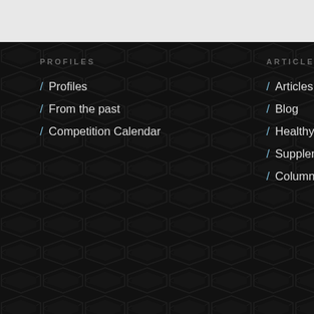PROFILES
/ Profiles
/ From the past
/ Competition Calendar
ARTICLES
/ Articles
/ Blog
/ Healthy Recipes
/ Supplement Reviews
/ Columnists
VIDEO
/ Inter...
/ Comp...
/ Posin...
/ Cooki...
/ Tease...
Iceland Fitness - iFitness.is - ifitness@ifitness.is
© Copyright 2011-2022 - Images